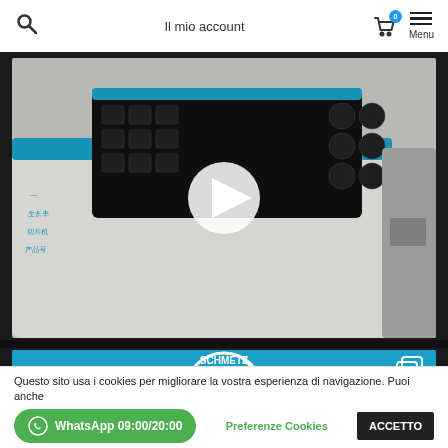Il mio account  Menu
[Figure (screenshot): Video thumbnail of a laboratory instrument (sewing needle/PCB machine) — white and blue device with button panel — with a white play button triangle overlay in the center]
[Figure (screenshot): Blue banner with Schmetz logo (white lion and needle circular badge) and a copy icon on the right]
Questo sito usa i cookies per migliorare la vostra esperienza di navigazione. Puoi anche
WhatsApp 09:00/20:00
Preferenze Cookies
ACCETTO